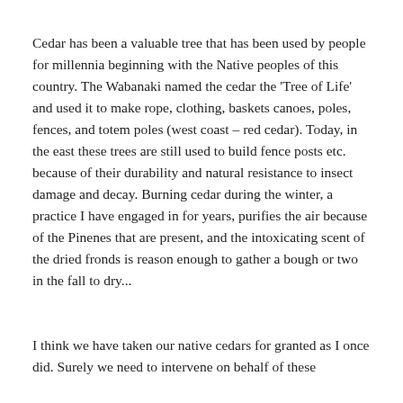Cedar has been a valuable tree that has been used by people for millennia beginning with the Native peoples of this country. The Wabanaki named the cedar the 'Tree of Life' and used it to make rope, clothing, baskets canoes, poles, fences, and totem poles (west coast – red cedar). Today, in the east these trees are still used to build fence posts etc. because of their durability and natural resistance to insect damage and decay. Burning cedar during the winter, a practice I have engaged in for years, purifies the air because of the Pinenes that are present, and the intoxicating scent of the dried fronds is reason enough to gather a bough or two in the fall to dry...
I think we have taken our native cedars for granted as I once did. Surely we need to intervene on behalf of these...